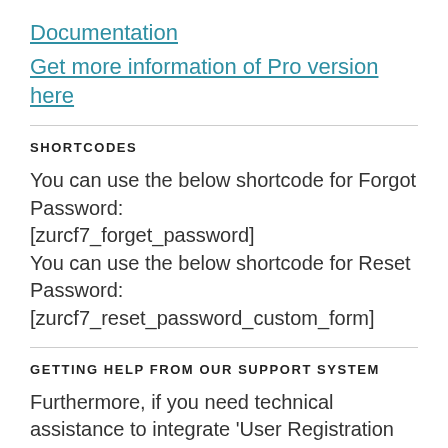Documentation
Get more information of Pro version here
SHORTCODES
You can use the below shortcode for Forgot Password:
[zurcf7_forget_password]
You can use the below shortcode for Reset Password:
[zurcf7_reset_password_custom_form]
GETTING HELP FROM OUR SUPPORT SYSTEM
Furthermore, if you need technical assistance to integrate 'User Registration Using Contact Form 7', you can reach out to us at https://zealousweb.com/support/, ZealousWeb Support System, and our support team will lend you